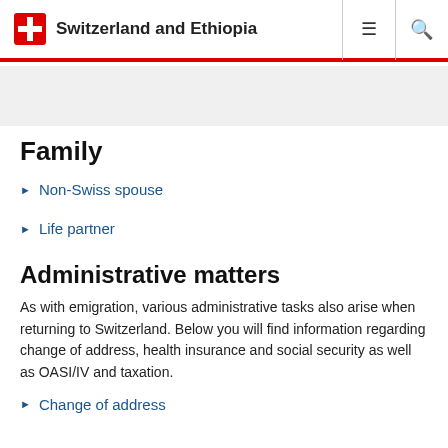Switzerland and Ethiopia
Family
Non-Swiss spouse
Life partner
Administrative matters
As with emigration, various administrative tasks also arise when returning to Switzerland. Below you will find information regarding change of address, health insurance and social security as well as OASI/IV and taxation.
Change of address